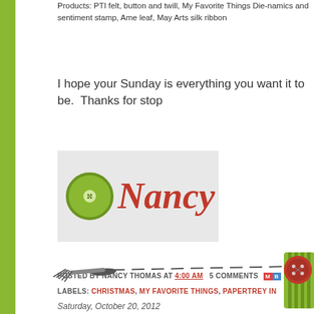Products: PTI felt, button and twill, My Favorite Things Die-namics and sentiment stamp, Ame leaf, May Arts silk ribbon
I hope your Sunday is everything you want it to be.  Thanks for stop
[Figure (illustration): Nancy signature graphic with green button and cursive red Nancy text on light gray background]
POSTED BY NANCY THOMAS AT 4:00 AM  5 COMMENTS
LABELS: CHRISTMAS, MY FAVORITE THINGS, PAPERTREY IN
[Figure (illustration): Decorative dashed line divider with needle/tassel on left end and green striped ribbon with red button on right end]
Saturday, October 20, 2012